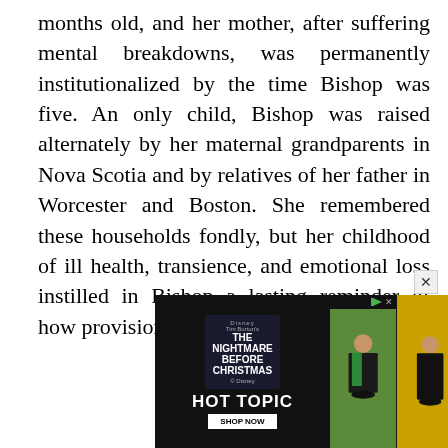months old, and her mother, after suffering mental breakdowns, was permanently institutionalized by the time Bishop was five. An only child, Bishop was raised alternately by her maternal grandparents in Nova Scotia and by relatives of her father in Worcester and Boston. She remembered these households fondly, but her childhood of ill health, transience, and emotional loss instilled in Bishop a lasting reminder of how provisional is one’s sense of “home.”
[Figure (screenshot): Advertisement for Hot Topic featuring The Nightmare Before Christmas Disney merchandise, showing the Hot Topic logo and 'Shop Now' button on a dark background, with three panels showing a model in green and black outfit against yellow/green backgrounds.]